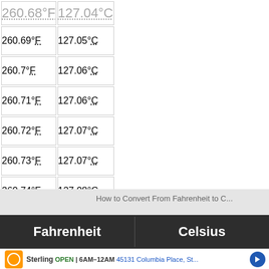| Fahrenheit | Celsius |
| --- | --- |
| 260.68°F | 127.04°C |
| 260.69°F | 127.05°C |
| 260.7°F | 127.06°C |
| 260.71°F | 127.06°C |
| 260.72°F | 127.07°C |
| 260.73°F | 127.07°C |
| 260.74°F | 127.08°C |
[Figure (screenshot): Ad banner showing Sterling business: OPEN 6AM-12AM, 45131 Columbia Place, St...]